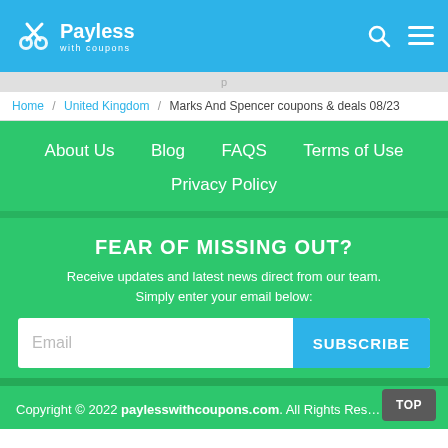Payless with coupons
Home / United Kingdom / Marks And Spencer coupons & deals 08/23
About Us   Blog   FAQS   Terms of Use   Privacy Policy
FEAR OF MISSING OUT?
Receive updates and latest news direct from our team. Simply enter your email below:
Email   SUBSCRIBE
Copyright © 2022 paylesswithcoupons.com. All Rights Reserved.